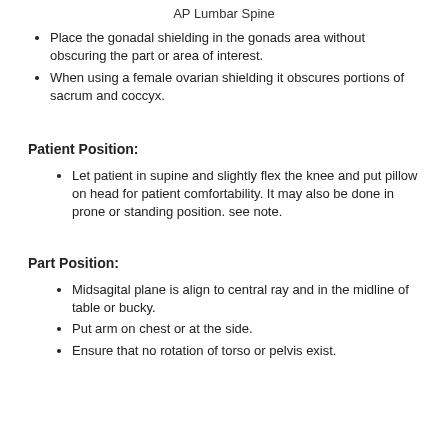AP Lumbar Spine
Place the gonadal shielding in the gonads area without obscuring the part or area of interest.
When using a female ovarian shielding it obscures portions of sacrum and coccyx.
Patient Position:
Let patient in supine and slightly flex the knee and put pillow on head for patient comfortability. It may also be done in prone or standing position. see note.
Part Position:
Midsagital plane is align to central ray and in the midline of table or bucky.
Put arm on chest or at the side.
Ensure that no rotation of torso or pelvis exist.